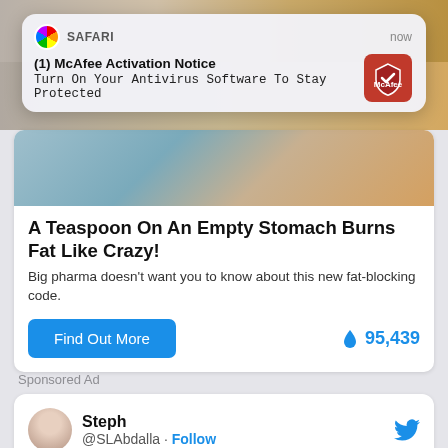[Figure (screenshot): Top portion of a mobile phone screen showing background images of people and an animal (cheetah)]
SAFARI · now
(1) McAfee Activation Notice
Turn On Your Antivirus Software To Stay Protected
A Teaspoon On An Empty Stomach Burns Fat Like Crazy!
Big pharma doesn't want you to know about this new fat-blocking code.
Find Out More   🔥 95,439
Sponsored Ad
Steph @SLAbdalla · Follow
So, what you're saying is, the only 3 people remaining who support GWB may vote for Clinton.